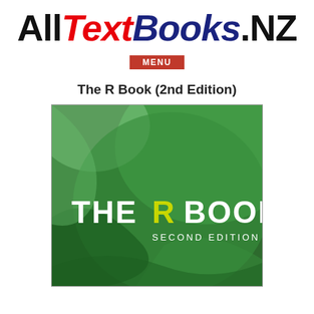AllTextBooks.NZ
MENU
The R Book (2nd Edition)
[Figure (illustration): Book cover of 'The R Book Second Edition' with green abstract curved shapes on a dark green background. White text reads THE R BOOK with a highlighted R, and SECOND EDITION below.]